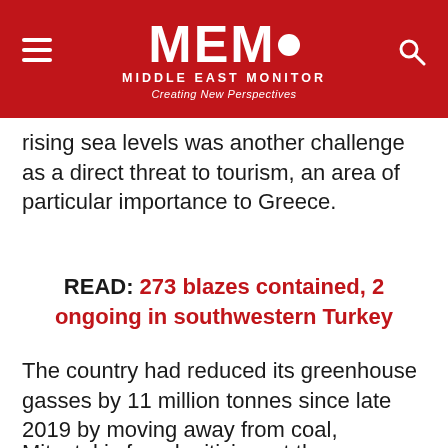MEMO MIDDLE EAST MONITOR — Creating New Perspectives
rising sea levels was another challenge as a direct threat to tourism, an area of particular importance to Greece.
READ: 273 blazes contained, 2 ongoing in southwestern Turkey
The country had reduced its greenhouse gasses by 11 million tonnes since late 2019 by moving away from coal, Mitsotakis said. Greek authorities were also moving "at warp speed" to place flood barriers in forests destroyed by fires this summer.
Mitsotakis faced criticism at the government's